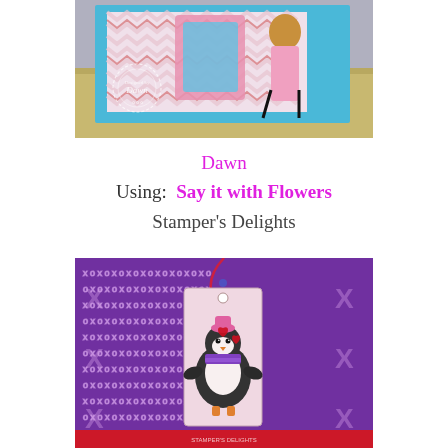[Figure (photo): A handmade greeting card with a blue frame, chevron patterned background, and a girl figure cutout, displayed on a wooden floor surface. A circular 'Designed by Dawn' watermark stamp is visible in the lower left of the photo.]
Dawn
Using: Say it with Flowers
Stamper's Delights
[Figure (photo): A handmade gift tag featuring a penguin wearing a pink hat and purple scarf, holding hearts, displayed against a purple fabric background with XO pattern. A red ribbon is tied through the tag hole. A red strip is visible at the bottom.]